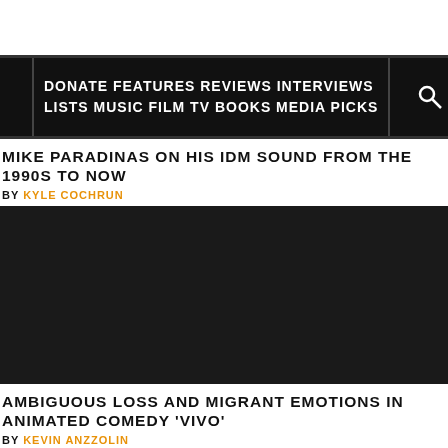DONATE FEATURES REVIEWS INTERVIEWS LISTS MUSIC FILM TV BOOKS MEDIA PICKS
MIKE PARADINAS ON HIS IDM SOUND FROM THE 1990S TO NOW
BY KYLE COCHRUN
[Figure (photo): Dark/black image, likely a photo of Mike Paradinas or related visual]
AMBIGUOUS LOSS AND MIGRANT EMOTIONS IN ANIMATED COMEDY 'VIVO'
BY KEVIN ANZZOLIN